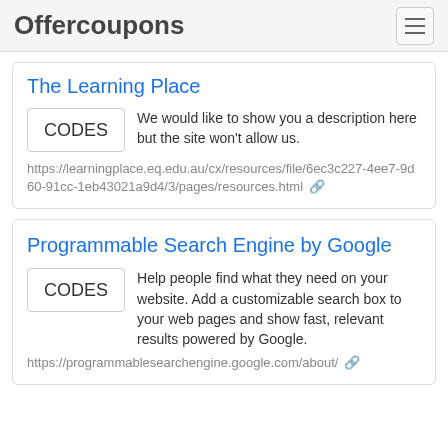Offercoupons
The Learning Place
CODES
We would like to show you a description here but the site won't allow us.
https://learningplace.eq.edu.au/cx/resources/file/6ec3c227-4ee7-9d60-91cc-1eb43021a9d4/3/pages/resources.html
Programmable Search Engine by Google
CODES
Help people find what they need on your website. Add a customizable search box to your web pages and show fast, relevant results powered by Google.
https://programmablesearchengine.google.com/about/